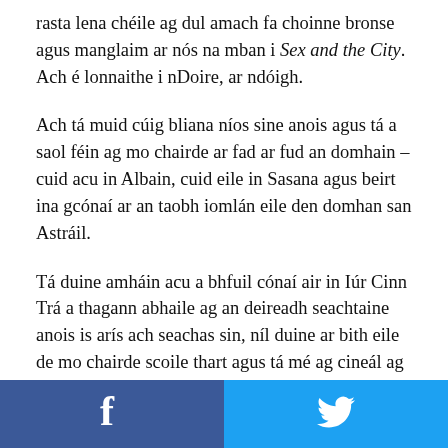rasta lena cheile ag dul amach fa choinne bronse agus manglaim ar nós na mban i Sex and the City. Ach é lonnaithe i nDoire, ar ndóigh.
Ach tá muid cúig bliana níos sine anois agus tá a saol féin ag mo chairde ar fad ar fud an domhain – cuid acu in Albain, cuid eile in Sasana agus beirt ina gcónaí ar an taobh iomlán eile den domhan san Astráil.
Tá duine amháin acu a bhfuil cónaí air in Iúr Cinn Trá a thagann abhaile ag an deireadh seachtaine anois is arís ach seachas sin, níl duine ar bith eile de mo chairde scoile thart agus tá mé ag cineál ag streachailt leis sin.
[Figure (other): Social media share buttons: Facebook (blue, left half) and Twitter (light blue, right half)]